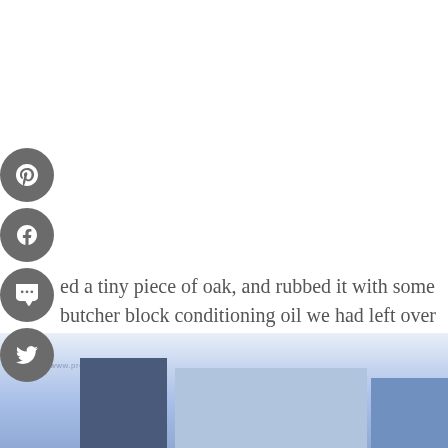[Figure (other): Social media sharing sidebar with four circular grey buttons: Pinterest (P icon), Facebook (f icon), Mix (m icon), Twitter (bird icon)]
ed a tiny piece of oak, and rubbed it with some butcher block conditioning oil we had left over from making these DIY Charcuterie Boards.
[Figure (photo): Bottom portion of a photo showing a charcuterie board with colorful food items, blue and white tones, with watermark www.prettydiyhome.com]